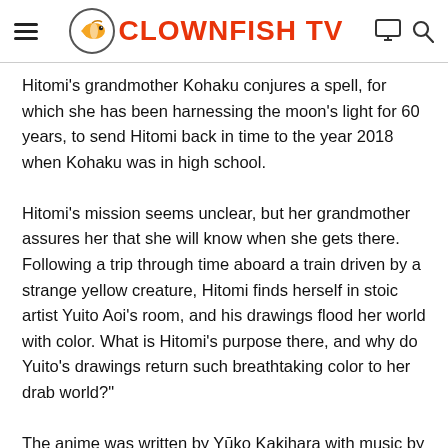CLOWNFISH TV
Hitomi's grandmother Kohaku conjures a spell, for which she has been harnessing the moon's light for 60 years, to send Hitomi back in time to the year 2018 when Kohaku was in high school.
Hitomi's mission seems unclear, but her grandmother assures her that she will know when she gets there. Following a trip through time aboard a train driven by a strange yellow creature, Hitomi finds herself in stoic artist Yuito Aoi's room, and his drawings flood her world with color. What is Hitomi's purpose there, and why do Yuito's drawings return such breathtaking color to her drab world?"
The anime was written by Yūko Kakihara with music by Yoshiaki Dewa. Chief animation director Yuki Akiyama